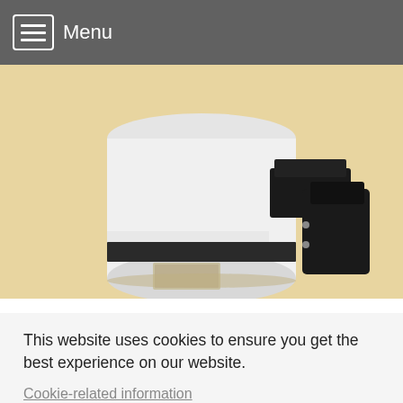Menu
[Figure (photo): A white telescope tube with black focuser/eyepiece holder, partially visible on a yellowish-tan background.]
This website uses cookies to ensure you get the best experience on our website.
Cookie-related information
Strictly necessary cookies
Analyse
Marketing
Accept all
Save